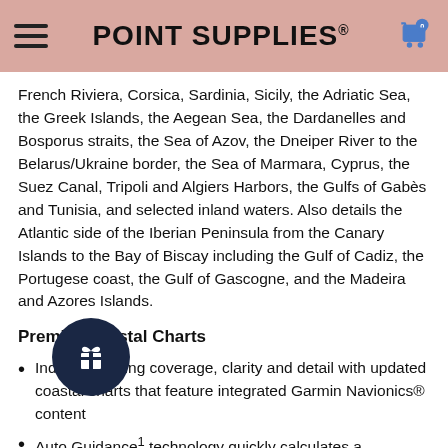POINT SUPPLIES®
French Riviera, Corsica, Sardinia, Sicily, the Adriatic Sea, the Greek Islands, the Aegean Sea, the Dardanelles and Bosporus straits, the Sea of Azov, the Dneiper River to the Belarus/Ukraine border, the Sea of Marmara, Cyprus, the Suez Canal, Tripoli and Algiers Harbors, the Gulfs of Gabès and Tunisia, and selected inland waters. Also details the Atlantic side of the Iberian Peninsula from the Canary Islands to the Bay of Biscay including the Gulf of Cadiz, the Portugese coast, the Gulf of Gascogne, and the Madeira and Azores Islands.
Premier Coastal Charts
Industry-leading coverage, clarity and detail with updated coastal charts that feature integrated Garmin Navionics® content
Auto Guidance¹ technology quickly calculates a suggested route by using your desired depth and